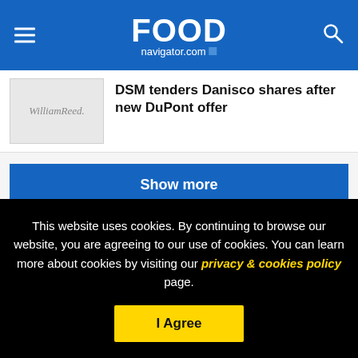FOOD navigator.com
[Figure (logo): William Reed publisher logo placeholder thumbnail]
DSM tenders Danisco shares after new DuPont offer
Show more
RELATED PRODUCT
This website uses cookies. By continuing to browse our website, you are agreeing to our use of cookies. You can learn more about cookies by visiting our privacy & cookies policy page.
I Agree